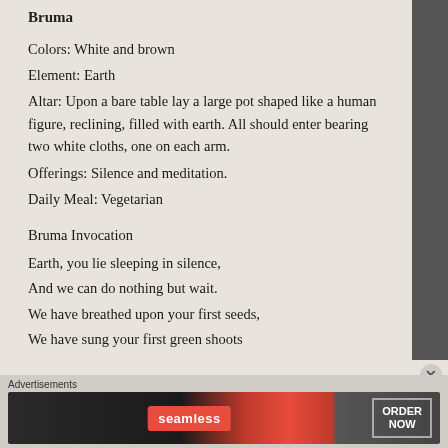Bruma
Colors: White and brown
Element: Earth
Altar: Upon a bare table lay a large pot shaped like a human figure, reclining, filled with earth. All should enter bearing two white cloths, one on each arm.
Offerings: Silence and meditation.
Daily Meal: Vegetarian
Bruma Invocation
Earth, you lie sleeping in silence,
And we can do nothing but wait.
We have breathed upon your first seeds,
We have sung your first green shoots
Advertisements
[Figure (infographic): Seamless food delivery advertisement banner with pizza image, Seamless logo in red, and ORDER NOW button]